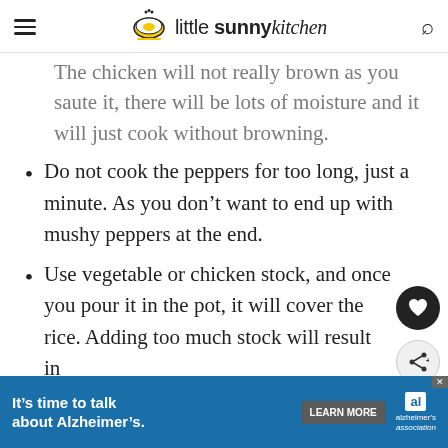little sunny kitchen
The chicken will not really brown as you saute it, there will be lots of moisture and it will just cook without browning.
Do not cook the peppers for too long, just a minute. As you don't want to end up with mushy peppers at the end.
Use vegetable or chicken stock, and once you pour it in the pot, it will cover the rice. Adding too much stock will result in
[Figure (other): Advertisement banner for Alzheimer's Association: 'It's time to talk about Alzheimer's.' with LEARN MORE button and Alzheimer's Association logo]